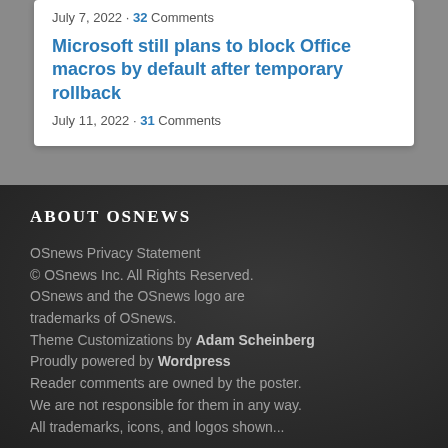July 7, 2022 • 32 Comments
Microsoft still plans to block Office macros by default after temporary rollback
July 11, 2022 • 31 Comments
ABOUT OSNEWS
OSnews Privacy Statement
© OSnews Inc. All Rights Reserved. OSnews and the OSnews logo are trademarks of OSnews.
Theme Customizations by Adam Scheinberg
Proudly powered by Wordpress
Reader comments are owned by the poster. We are not responsible for them in any way.
All trademarks, icons, and logos shown...